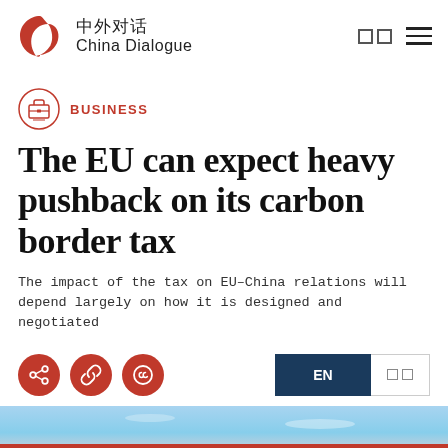中外对话 China Dialogue
BUSINESS
The EU can expect heavy pushback on its carbon border tax
The impact of the tax on EU–China relations will depend largely on how it is designed and negotiated
[Figure (photo): Partial photo strip at bottom of page showing sky and red subject]